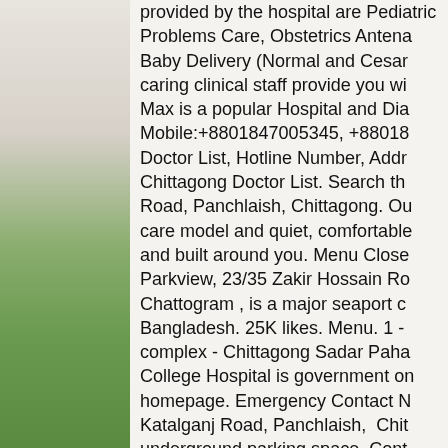[Figure (photo): Left panel showing a nature/landscape photo with green grass and a light beige/gray upper portion resembling sky or wall]
provided by the hospital are Pediatric Problems Care, Obstetrics Antena Baby Delivery (Normal and Cesar caring clinical staff provide you wi Max is a popular Hospital and Dia Mobile:+8801847005345, +88018 Doctor List, Hotline Number, Addr Chittagong Doctor List. Search th Road, Panchlaish, Chittagong. Ou care model and quiet, comfortable and built around you. Menu Close Parkview, 23/35 Zakir Hossain Ro Chattogram , is a major seaport c Bangladesh. 25K likes. Menu. 1 - complex - Chittagong Sadar Paha College Hospital is government on homepage. Emergency Contact N Katalganj Road, Panchlaish, Chit underground parking space. Cont Office: Address: 94/103, Katalgo Hospital Customer Care Center: C Feed is one of the top online care